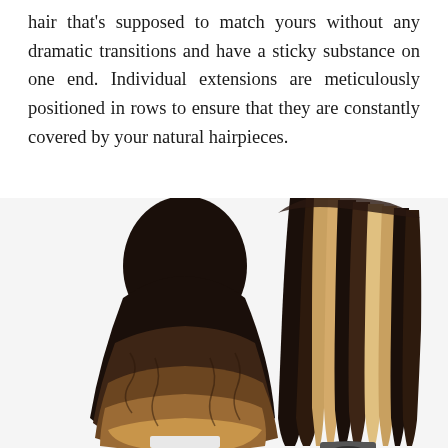hair that's supposed to match yours without any dramatic transitions and have a sticky substance on one end. Individual extensions are meticulously positioned in rows to ensure that they are constantly covered by your natural hairpieces.
[Figure (photo): Two images side by side: on the left, the back of a person's head showing long ombre hair transitioning from dark black at the roots to light blonde/brown at the tips; on the right, a bundle of straight hair extensions with highlighted blonde and dark brown streaks, showing a small clip or bond at the bottom tip.]